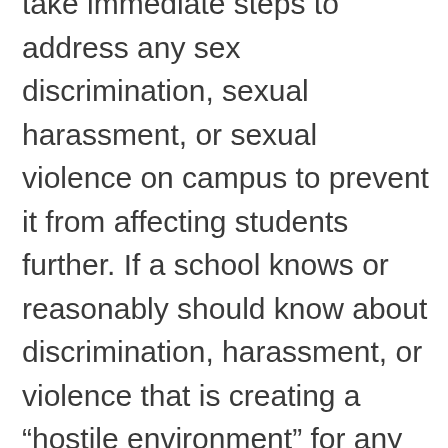take immediate steps to address any sex discrimination, sexual harassment, or sexual violence on campus to prevent it from affecting students further. If a school knows or reasonably should know about discrimination, harassment, or violence that is creating a “hostile environment” for any student, it must act to eliminate it, remedy the harm caused, and prevent its recurrence. Schools may not discourage survivors from continuing their education, such as telling them to